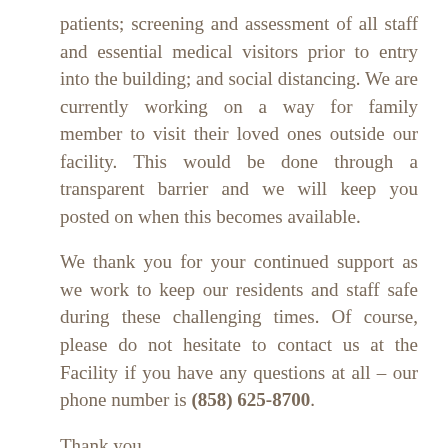patients; screening and assessment of all staff and essential medical visitors prior to entry into the building; and social distancing. We are currently working on a way for family member to visit their loved ones outside our facility. This would be done through a transparent barrier and we will keep you posted on when this becomes available.
We thank you for your continued support as we work to keep our residents and staff safe during these challenging times. Of course, please do not hesitate to contact us at the Facility if you have any questions at all – our phone number is (858) 625-8700.
Thank you,
Shaun Alkema